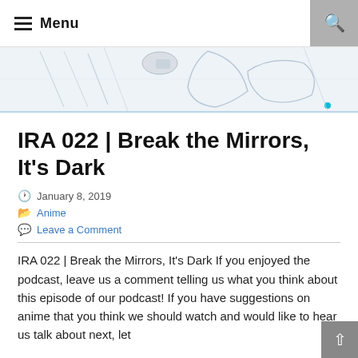Menu
[Figure (illustration): Anime-style sketch illustration used as banner image, light blue and gray tones]
IRA 022 | Break the Mirrors, It's Dark
January 8, 2019
Anime
Leave a Comment
IRA 022 | Break the Mirrors, It's Dark If you enjoyed the podcast, leave us a comment telling us what you think about this episode of our podcast! If you have suggestions on anime that you think we should watch and would like to hear us talk about next, let